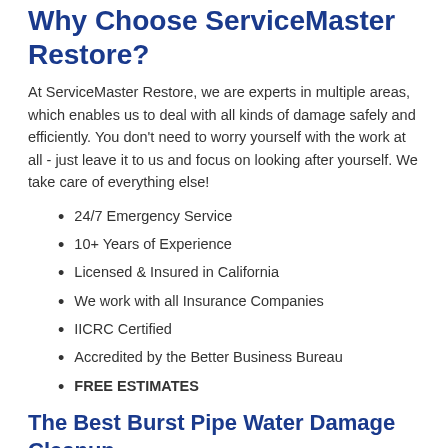Why Choose ServiceMaster Restore?
At ServiceMaster Restore, we are experts in multiple areas, which enables us to deal with all kinds of damage safely and efficiently. You don't need to worry yourself with the work at all - just leave it to us and focus on looking after yourself. We take care of everything else!
24/7 Emergency Service
10+ Years of Experience
Licensed & Insured in California
We work with all Insurance Companies
IICRC Certified
Accredited by the Better Business Bureau
FREE ESTIMATES
The Best Burst Pipe Water Damage Cleanup